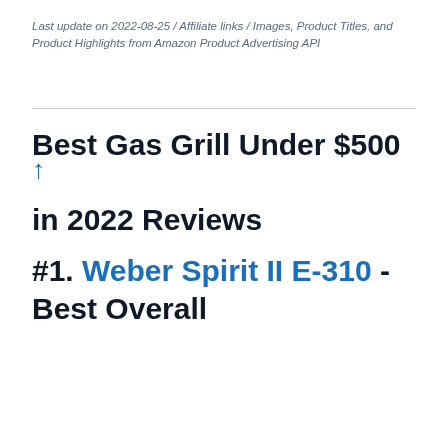Last update on 2022-08-25 / Affiliate links / Images, Product Titles, and Product Highlights from Amazon Product Advertising API
Best Gas Grill Under $500 ↑ in 2022 Reviews
#1. Weber Spirit II E-310 - Best Overall